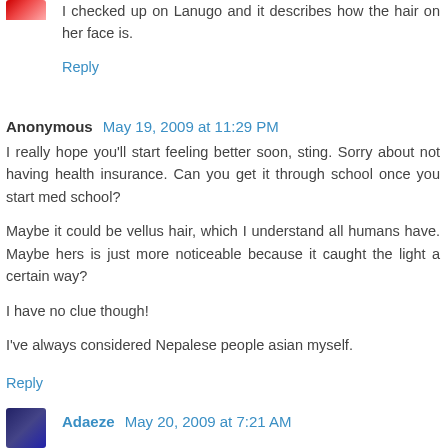I checked up on Lanugo and it describes how the hair on her face is.
Reply
Anonymous May 19, 2009 at 11:29 PM
I really hope you'll start feeling better soon, sting. Sorry about not having health insurance. Can you get it through school once you start med school?
Maybe it could be vellus hair, which I understand all humans have. Maybe hers is just more noticeable because it caught the light a certain way?
I have no clue though!
I've always considered Nepalese people asian myself.
Reply
Adaeze May 20, 2009 at 7:21 AM